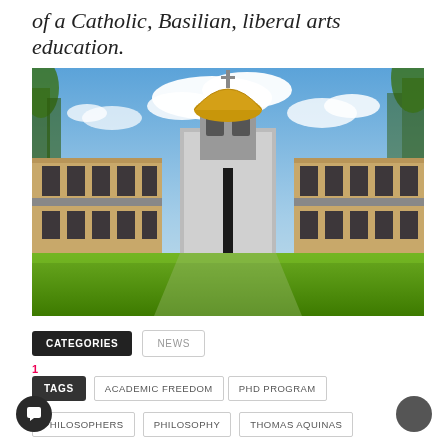of a Catholic, Basilian, liberal arts education.
[Figure (photo): Architectural rendering or photograph of a Catholic university campus courtyard with modern buildings on either side, a central chapel or dome structure with a golden dome, green lawn in the foreground, and blue sky with clouds above.]
CATEGORIES  NEWS
TAGS  ACADEMIC FREEDOM  PHD PROGRAM
PHILOSOPHERS  PHILOSOPHY  THOMAS AQUINAS